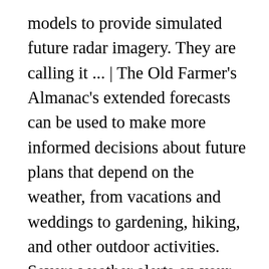models to provide simulated future radar imagery. They are calling it ... | The Old Farmer's Almanac's extended forecasts can be used to make more informed decisions about future plans that depend on the weather, from vacations and weddings to gardening, hiking, and other outdoor activities. Severe weather alerts on your smartphone. Currently, we have radar imagery for this model from now until NAM Hires forecast model. on cyclocane. Full-Featured . See the 60-day extended forecast from The Old Farmer's Almanac. ), and forecast its future position and intensity. 2021-01-23T21:00:00Z 2021-01-24T06:00:00Z Storms possible panhandle northward as this pushes